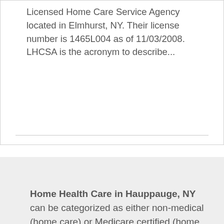Licensed Home Care Service Agency located in Elmhurst, NY. Their license number is 1465L004 as of 11/03/2008. LHCSA is the acronym to describe...
Home Health Care in Hauppauge, NY can be categorized as either non-medical (home care) or Medicare certified (home health). Non-medical home care includes personal care and help with everyday activities, while Medicare certified home health involves skilled nursing and rehabilitation. Elderly residents of